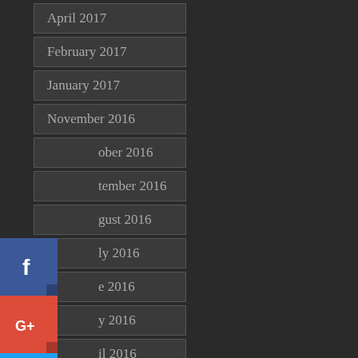April 2017
February 2017
January 2017
November 2016
October 2016
September 2016
August 2016
July 2016
June 2016
May 2016
April 2016
March 2016
November 2015
November 2015
October 2015
[Figure (infographic): Social share buttons: Facebook (blue), Google+ (red), Twitter (cyan), Pinterest (red), Blogger (orange), More (gray)]